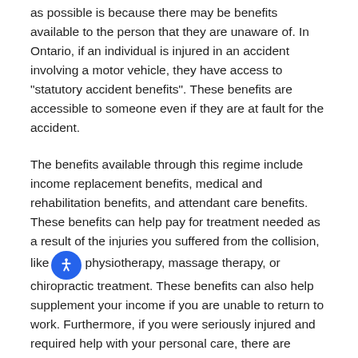as possible is because there may be benefits available to the person that they are unaware of. In Ontario, if an individual is injured in an accident involving a motor vehicle, they have access to "statutory accident benefits". These benefits are accessible to someone even if they are at fault for the accident.
The benefits available through this regime include income replacement benefits, medical and rehabilitation benefits, and attendant care benefits. These benefits can help pay for treatment needed as a result of the injuries you suffered from the collision, like physiotherapy, massage therapy, or chiropractic treatment. These benefits can also help supplement your income if you are unable to return to work. Furthermore, if you were seriously injured and required help with your personal care, there are benefits to cover this. Unfortunately, many people do not realize they have access to these benefits and, even if they do, accessing these benefits can be difficult and overwhelming. Additionally, there are many deadlines, forms, and procedures associated with this regime. Hiring a personal injury lawyer who understands and is familiar with this system will help you access all of the benefits that you are entitled to.